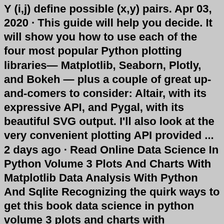Y (i,j) define possible (x,y) pairs. Apr 03, 2020 · This guide will help you decide. It will show you how to use each of the four most popular Python plotting libraries— Matplotlib, Seaborn, Plotly, and Bokeh — plus a couple of great up-and-comers to consider: Altair, with its expressive API, and Pygal, with its beautiful SVG output. I'll also look at the very convenient plotting API provided ... 2 days ago · Read Online Data Science In Python Volume 3 Plots And Charts With Matplotlib Data Analysis With Python And Sqlite Recognizing the quirk ways to get this book data science in python volume 3 plots and charts with matplotlib data analysis with python and sqlite is additionally useful. May 02, 2022 · Supported Python versions and Platforms. imucal is officially tested on Python 3.7, 3.8, 3.9 and 3.10. It should further work with all major operating systems. However, you might run into some issues on ARM based MacBooks, as hd5py does not seem to be properly supported yet. Why Use Interactive Maps. Interactive Maps are useful for earth data science because they: Clearly